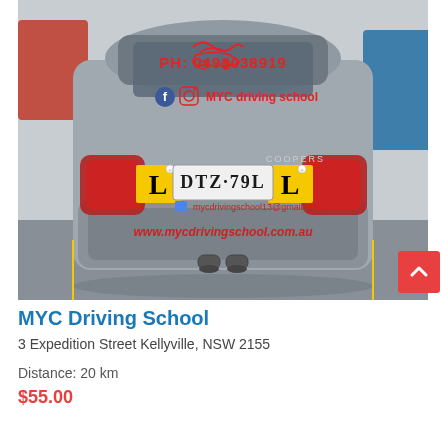[Figure (photo): Rear view of a grey Mini Cooper with 'L' plates on the left and right bumper corners, displaying license plate DTZ79L, MYC Driving School branding with phone number PH: 0493038919, Facebook and Instagram logos with 'MYC driving school', email mycdrivingschool13@gmail.com, and website www.mycdrivingschool.com.au on the rear window, parked in a car park.]
MYC Driving School
3 Expedition Street Kellyville, NSW 2155
Distance: 20 km
$55.00